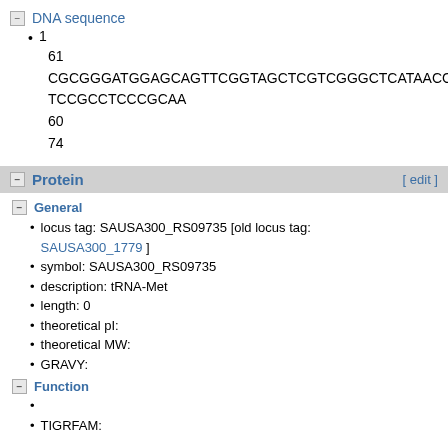DNA sequence
1
61
CGCGGGATGGAGCAGTTCGGTAGCTCGTCGGGCTCATAACCCG
TCCGCCTCCCGCAA
60
74
Protein
General
locus tag: SAUSA300_RS09735 [old locus tag: SAUSA300_1779 ]
symbol: SAUSA300_RS09735
description: tRNA-Met
length: 0
theoretical pI:
theoretical MW:
GRAVY:
Function
TIGRFAM: